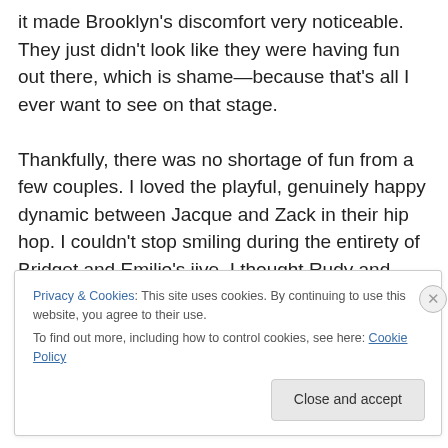it made Brooklyn's discomfort very noticeable. They just didn't look like they were having fun out there, which is shame—because that's all I ever want to see on that stage.

Thankfully, there was no shortage of fun from a few couples. I loved the playful, genuinely happy dynamic between Jacque and Zack in their hip hop. I couldn't stop smiling during the entirety of Bridget and Emilio's jive. I thought Rudy and Tanisha's Broadway was one of the best that's been performed on the show in ages, mainly
Privacy & Cookies: This site uses cookies. By continuing to use this website, you agree to their use.
To find out more, including how to control cookies, see here: Cookie Policy